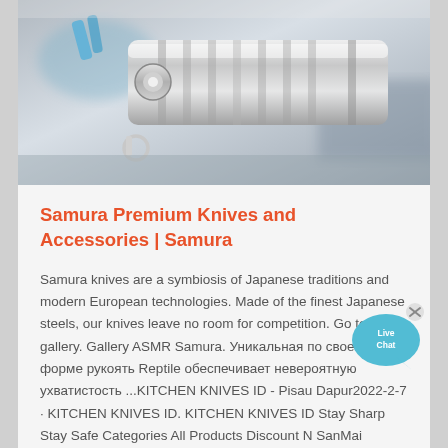[Figure (photo): Close-up photograph of industrial metal machinery parts, likely knife manufacturing equipment, with chrome/silver metallic components visible against a blurred background.]
Samura Premium Knives and Accessories | Samura
Samura knives are a symbiosis of Japanese traditions and modern European technologies. Made of the finest Japanese steels, our knives leave no room for competition. Go to gallery. Gallery ASMR Samura. Уникальная по своей форме рукоять Reptile обеспечивает невероятную ухватистость ...KITCHEN KNIVES ID - Pisau Dapur2022-2-7 · KITCHEN KNIVES ID. KITCHEN KNIVES ID Stay Sharp Stay Safe Categories All Products Discount N SanMai Kiritsuke 200mm Kasumi, Rosewood & Cherry wood Rp 915,000 Rp 823,500 Discount Buy Cleaver Nakiri 180mm Kurouchi Tsuchime, Jatiwood Handle Rp 635,000 ...
[Figure (illustration): Live Chat widget button — a teal/cyan speech bubble with 'Live Chat' text inside, with an X close button in the top-right corner.]